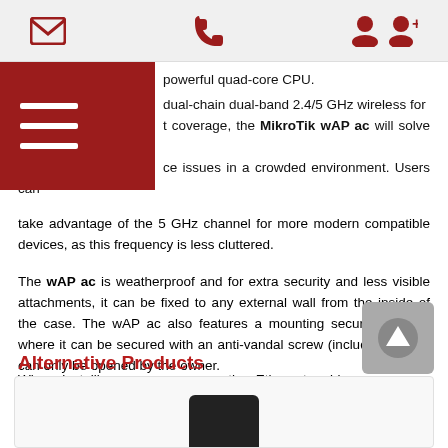Navigation bar with email, phone, and user icons
powerful quad-core CPU.
dual-chain dual-band 2.4/5 GHz wireless for best coverage, the MikroTik wAP ac will solve most interference issues in a crowded environment. Users can take advantage of the 5 GHz channel for more modern compatible devices, as this frequency is less cluttered.
The wAP ac is weatherproof and for extra security and less visible attachments, it can be fixed to any external wall from the inside of the case. The wAP ac also features a mounting security feature, where it can be secured with an anti-vandal screw (included), which can only be opened by the owner.
When installing, users can run the Ethernet cable directly behind the unit and through the wall via an opening in the back of the MikroTik wAP ac's case.
Alternative Products
[Figure (photo): Partial product image at the bottom of the page, showing a dark networking device]